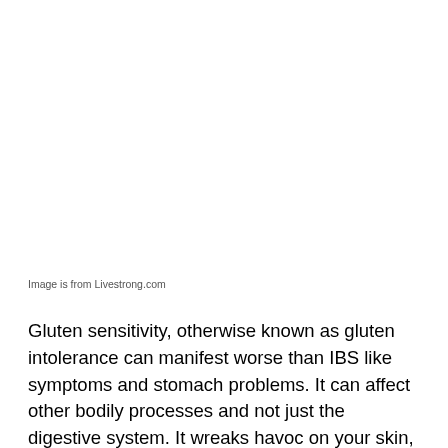Image is from Livestrong.com
Gluten sensitivity, otherwise known as gluten intolerance can manifest worse than IBS like symptoms and stomach problems. It can affect other bodily processes and not just the digestive system. It wreaks havoc on your skin, the largest organ, bones, mouth, and endocrine system. You may have a myriad of symptoms that don't make sense to the physician and may mean they are clueless you're reporting back to them with symptoms of gluten sensitivity. The currently available drugs only tend to treat symptoms